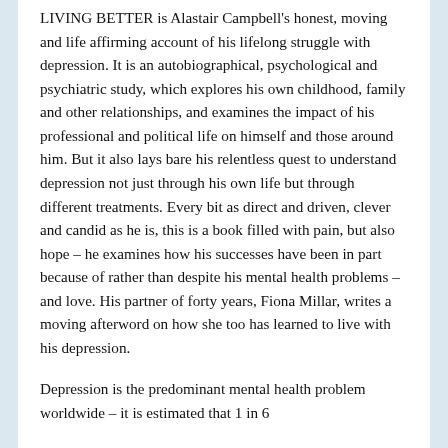LIVING BETTER is Alastair Campbell's honest, moving and life affirming account of his lifelong struggle with depression. It is an autobiographical, psychological and psychiatric study, which explores his own childhood, family and other relationships, and examines the impact of his professional and political life on himself and those around him. But it also lays bare his relentless quest to understand depression not just through his own life but through different treatments. Every bit as direct and driven, clever and candid as he is, this is a book filled with pain, but also hope – he examines how his successes have been in part because of rather than despite his mental health problems – and love. His partner of forty years, Fiona Millar, writes a moving afterword on how she too has learned to live with his depression.
Depression is the predominant mental health problem worldwide – it is estimated that 1 in 6